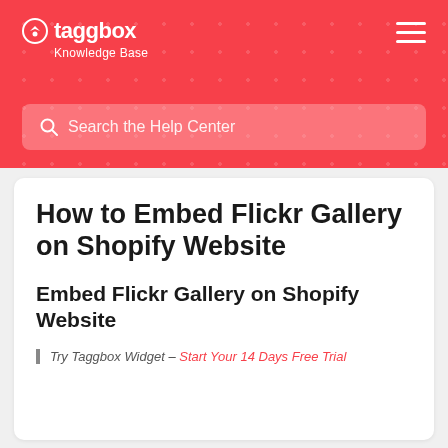taggbox Knowledge Base
Search the Help Center
How to Embed Flickr Gallery on Shopify Website
Embed Flickr Gallery on Shopify Website
Try Taggbox Widget – Start Your 14 Days Free Trial